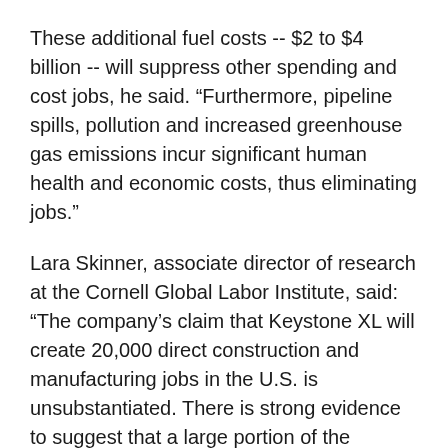These additional fuel costs -- $2 to $4 billion -- will suppress other spending and cost jobs, he said. "Furthermore, pipeline spills, pollution and increased greenhouse gas emissions incur significant human health and economic costs, thus eliminating jobs."
Lara Skinner, associate director of research at the Cornell Global Labor Institute, said: "The company's claim that Keystone XL will create 20,000 direct construction and manufacturing jobs in the U.S. is unsubstantiated. There is strong evidence to suggest that a large portion of the primary material input for KXL – steel pipe- will not even be produced in the U.S."
Overall, she said, "Keystone XL could kill more jobs than it creates. There are alternatives to this kind of